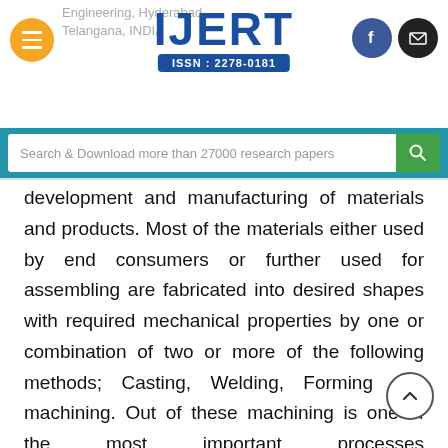IJERT — ISSN : 2278-0181 — Engineering, Hyderabad, Telangana, INDIA
Search & Download more than 27000 research papers
development and manufacturing of materials and products. Most of the materials either used by end consumers or further used for assembling are fabricated into desired shapes with required mechanical properties by one or combination of two or more of the following methods; Casting, Welding, Forming and machining. Out of these machining is one of the most important processes employed.Machining of the objects with complex shapes includes contours and deep cuts. It is difficult on conventional machines to perform such